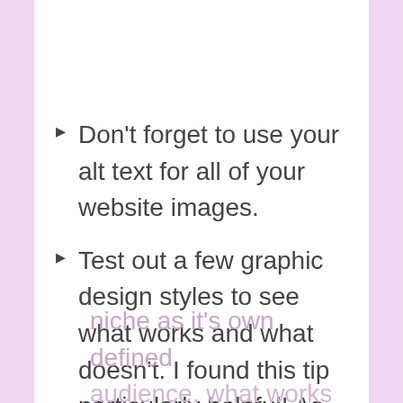Don't forget to use your alt text for all of your website images.
Test out a few graphic design styles to see what works and what doesn't. I found this tip particularly helpful! As each niche as it's own defined audience, what works for my